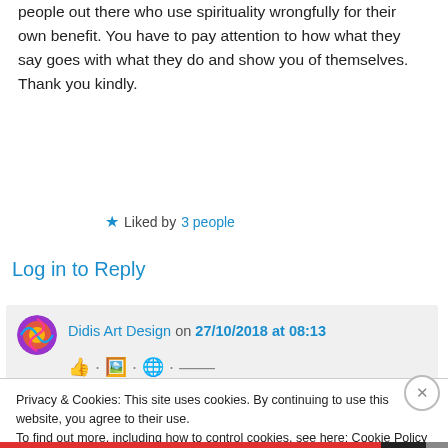people out there who use spirituality wrongfully for their own benefit. You have to pay attention to how what they say goes with what they do and show you of themselves. Thank you kindly.
★ Liked by 3 people
Log in to Reply
Didis Art Design on 27/10/2018 at 08:13
Privacy & Cookies: This site uses cookies. By continuing to use this website, you agree to their use. To find out more, including how to control cookies, see here: Cookie Policy
Close and accept